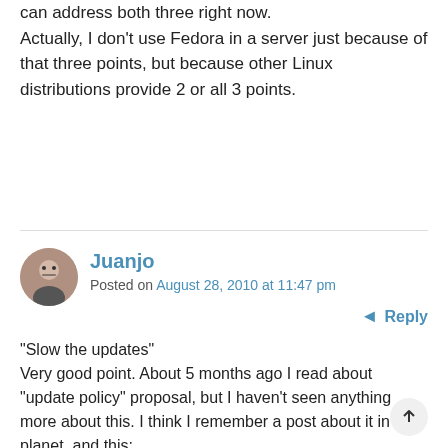can address both three right now. Actually, I don't use Fedora in a server just because of that three points, but because other Linux distributions provide 2 or all 3 points.
Juanjo
Posted on August 28, 2010 at 11:47 pm
Reply
"Slow the updates"
Very good point. About 5 months ago I read about "update policy" proposal, but I haven't seen anything more about this. I think I remember a post about it in the planet, and this:
https://fedoraproject.org/wiki/User:Adamwill/Pro
Currently Fedora updates bring me some kind of fixes